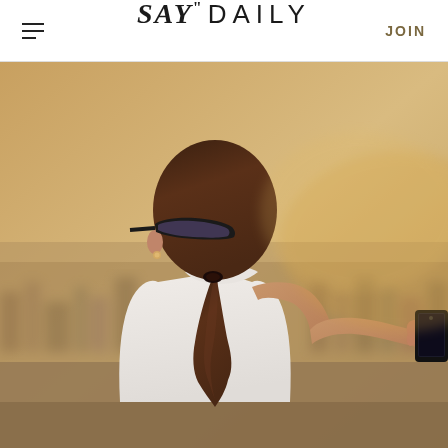SAY" DAILY  JOIN
[Figure (photo): A woman with a ponytail, wearing sunglasses and a white blouse, photographed from behind as she holds up a smartphone to take a photo of a hazy cityscape from a high vantage point. Warm golden light fills the background.]